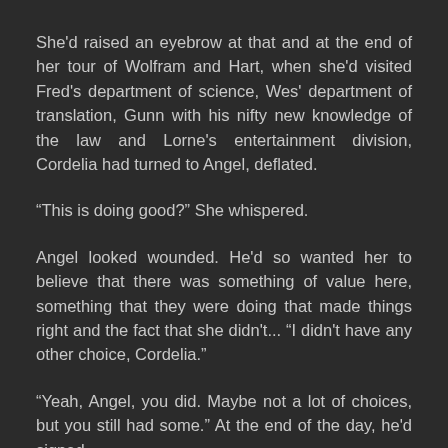She'd raised an eyebrow at that and at the end of her tour of Wolfram and Hart, when she'd visited Fred's department of science, Wes' department of translation, Gunn with his nifty new knowledge of the law and Lorne's entertainment division, Cordelia had turned to Angel, deflated.
“This is doing good?” She whispered.
Angel looked wounded. He'd so wanted her to believe that there was something of value here, something that they were doing that made things right and the fact that she didn't... “I didn't have any other choice, Cordelia.”
“Yeah, Angel, you did. Maybe not a lot of choices, but you still had some.” At the end of the day, he'd signed